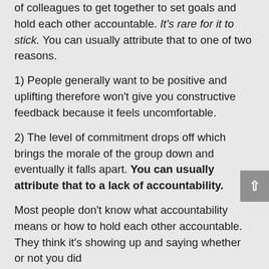of colleagues to get together to set goals and hold each other accountable. It's rare for it to stick. You can usually attribute that to one of two reasons.
1) People generally want to be positive and uplifting therefore won't give you constructive feedback because it feels uncomfortable.
2) The level of commitment drops off which brings the morale of the group down and eventually it falls apart. You can usually attribute that to a lack of accountability.
Most people don't know what accountability means or how to hold each other accountable. They think it's showing up and saying whether or not you did something and then move on the other...